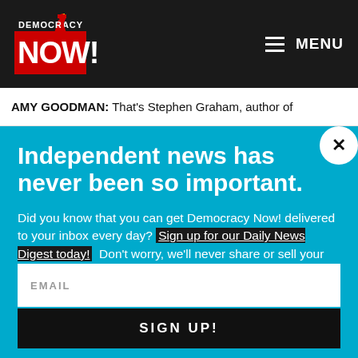[Figure (logo): Democracy Now! logo — red torch/statue of liberty with 'DEMOCRACY NOW!' text in red and white on dark background]
≡ MENU
AMY GOODMAN: That's Stephen Graham, author of
Independent news has never been so important.
Did you know that you can get Democracy Now! delivered to your inbox every day? Sign up for our Daily News Digest today! Don't worry, we'll never share or sell your information.
EMAIL
SIGN UP!